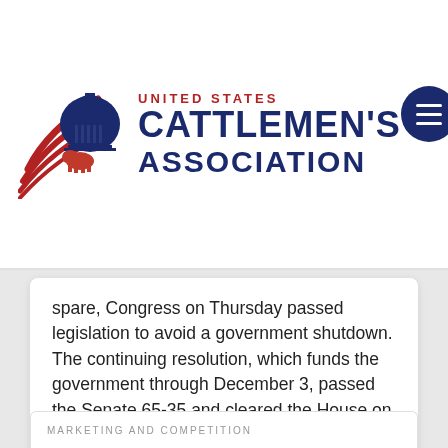[Figure (logo): United States Cattlemen's Association logo with Capitol building and swoosh graphic]
spare, Congress on Thursday passed legislation to avoid a government shutdown. The continuing resolution, which funds the government through December 3, passed the Senate 65-35 and cleared the House on a 254-175 vote. The measure temporarily extends authority for the Livestock Mandatory Reporting program through December 3. Additionally, it provides $10 billion in producer assistance for 2020 …
Read More
MARKETING AND COMPETITION